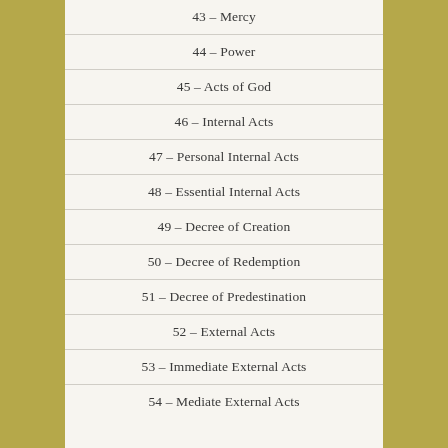43 – Mercy
44 – Power
45 – Acts of God
46 – Internal Acts
47 – Personal Internal Acts
48 – Essential Internal Acts
49 – Decree of Creation
50 – Decree of Redemption
51 – Decree of Predestination
52 – External Acts
53 – Immediate External Acts
54 – Mediate External Acts